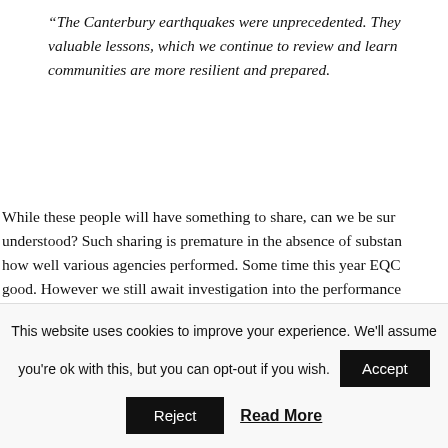“The Canterbury earthquakes were unprecedented. They valuable lessons, which we continue to review and learn communities are more resilient and prepared.
While these people will have something to share, can we be sure understood? Such sharing is premature in the absence of substantial how well various agencies performed. Some time this year EQC good. However we still await investigation into the performance Council, and the health system. How can we learn from our exp constructive, and forward-focused versions of events are available institutional memories be created of heroic and insightful efforts realities? What harm will that do in misinforming future recovery
This website uses cookies to improve your experience. We'll assume you're ok with this, but you can opt-out if you wish. Accept Reject Read More